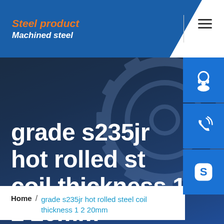Steel product / Machined steel
[Figure (screenshot): Website header with blue banner showing 'Steel product' in orange italic and 'Machined steel' in white italic bold, with hamburger menu icon on the right]
grade s235jr hot rolled steel coil thickness 1 2 20mm
[Figure (illustration): Three blue side button icons: customer support (headset), phone/call, and Skype logo]
Home / grade s235jr hot rolled steel coil thickness 1 2 20mm